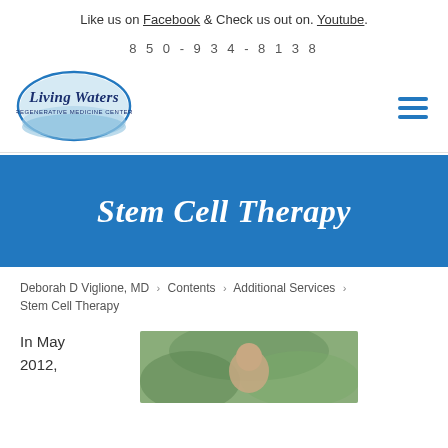Like us on Facebook & Check us out on. Youtube.
850-934-8138
[Figure (logo): Living Waters Regenerative Medicine Center oval logo]
Stem Cell Therapy
Deborah D Viglione, MD  >  Contents  >  Additional Services  >  Stem Cell Therapy
In May 2012,